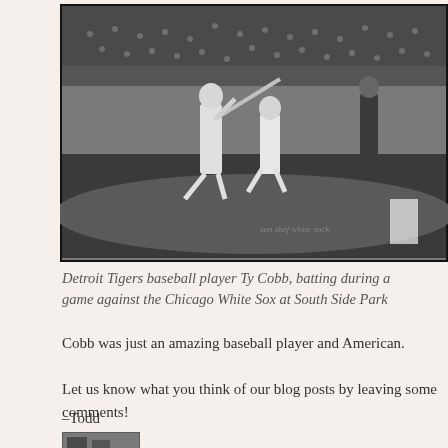[Figure (photo): Black and white historical photograph of Detroit Tigers baseball player Ty Cobb batting during a game against the Chicago White Sox at South Side Park. A catcher and umpire are visible behind the batter, with a large crowd in the background.]
Detroit Tigers baseball player Ty Cobb, batting during a game against the Chicago White Sox at South Side Park
Cobb was just an amazing baseball player and American.
Let us know what you think of our blog posts by leaving some comments!
–Todd
[Figure (photo): Small thumbnail photograph at bottom left of page.]